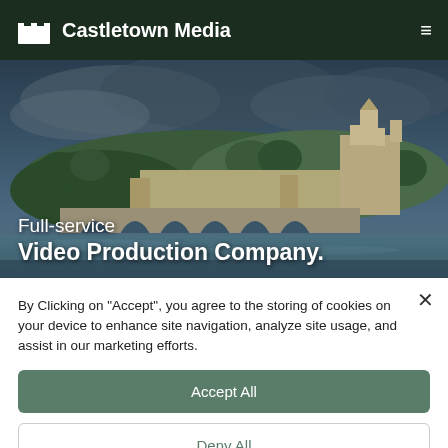Castletown Media
[Figure (photo): Hero background image of a medieval stone bridge and castle/cathedral complex on a hill, with a river in the foreground and dramatic stormy sky]
Full-service Video Production Company.
By Clicking on "Accept", you agree to the storing of cookies on your device to enhance site navigation, analyze site usage, and assist in our marketing efforts.
Accept All
Deny All
Cookie Settings
Made in Webflow